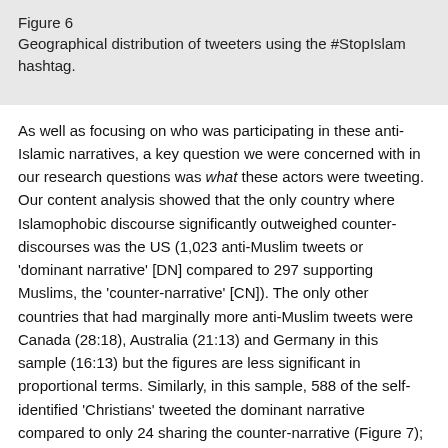Figure 6
Geographical distribution of tweeters using the #StopIslam hashtag.
As well as focusing on who was participating in these anti-Islamic narratives, a key question we were concerned with in our research questions was what these actors were tweeting. Our content analysis showed that the only country where Islamophobic discourse significantly outweighed counter-discourses was the US (1,023 anti-Muslim tweets or 'dominant narrative' [DN] compared to 297 supporting Muslims, the 'counter-narrative' [CN]). The only other countries that had marginally more anti-Muslim tweets were Canada (28:18), Australia (21:13) and Germany in this sample (16:13) but the figures are less significant in proportional terms. Similarly, in this sample, 588 of the self-identified 'Christians' tweeted the dominant narrative compared to only 24 sharing the counter-narrative (Figure 7); atheists were also more likely to tweet the dominant narrative (67:6). The fact that not everyone chooses to include their religion in their